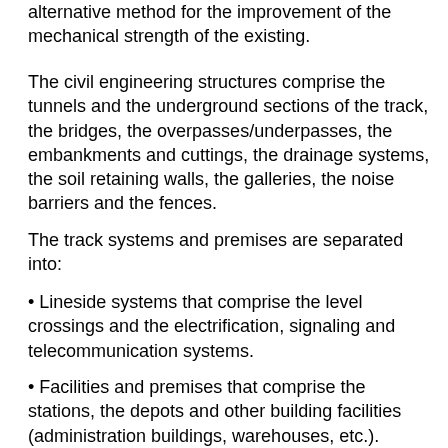alternative method for the improvement of the mechanical strength of the existing.
The civil engineering structures comprise the tunnels and the underground sections of the track, the bridges, the overpasses/underpasses, the embankments and cuttings, the drainage systems, the soil retaining walls, the galleries, the noise barriers and the fences.
The track systems and premises are separated into:
• Lineside systems that comprise the level crossings and the electrification, signaling and telecommunication systems.
• Facilities and premises that comprise the stations, the depots and other building facilities (administration buildings, warehouses, etc.).